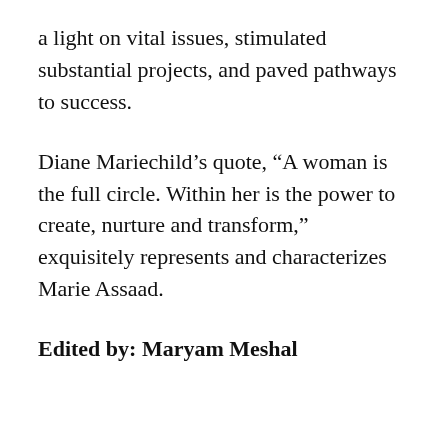a light on vital issues, stimulated substantial projects, and paved pathways to success.
Diane Mariechild’s quote, “A woman is the full circle. Within her is the power to create, nurture and transform,” exquisitely represents and characterizes Marie Assaad.
Edited by: Maryam Meshal